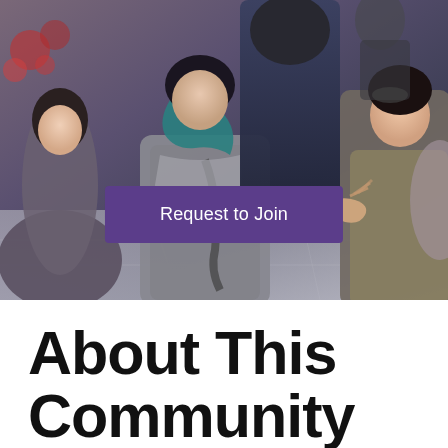[Figure (photo): Group of people having a conversation, including a young woman with teal-highlighted hair in a grey sweater, people in dark clothing, and a person on the right gesturing with their hand. Indoor setting with tiled floor.]
Request to Join
About This Community